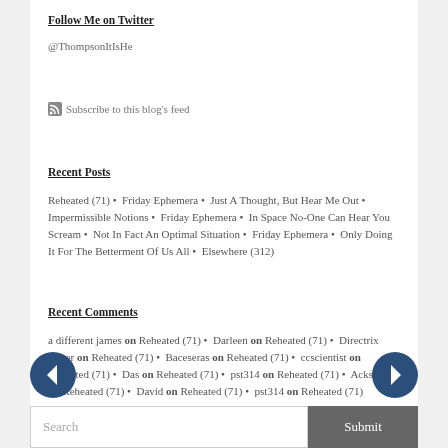Follow Me on Twitter
@ThompsonItIsHe
Subscribe to this blog's feed
Recent Posts
Reheated (71) • Friday Ephemera • Just A Thought, But Hear Me Out • Impermissible Notions • Friday Ephemera • In Space No-One Can Hear You Scream • Not In Fact An Optimal Situation • Friday Ephemera • Only Doing It For The Betterment Of Us All • Elsewhere (312)
Recent Comments
a different james on Reheated (71) • Darleen on Reheated (71) • Directrix Gazer on Reheated (71) • Baceseras on Reheated (71) • ccscientist on Reheated (71) • Das on Reheated (71) • pst314 on Reheated (71) • Acksiom on Reheated (71) • David on Reheated (71) • pst314 on Reheated (71)